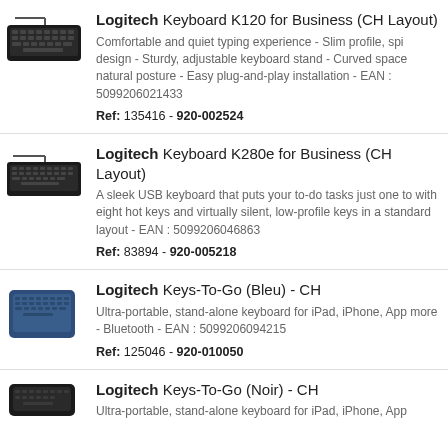Logitech Keyboard K120 for Business (CH Layout) - Comfortable and quiet typing experience - Slim profile, spi design - Sturdy, adjustable keyboard stand - Curved space natural posture - Easy plug-and-play installation - EAN : 5099206021433
Ref: 135416 - 920-002524
Logitech Keyboard K280e for Business (CH Layout) - A sleek USB keyboard that puts your to-do tasks just one to with eight hot keys and virtually silent, low-profile keys in a standard layout - EAN : 5099206046863
Ref: 83894 - 920-005218
Logitech Keys-To-Go (Bleu) - CH - Ultra-portable, stand-alone keyboard for iPad, iPhone, App more - Bluetooth - EAN : 5099206094215
Ref: 125046 - 920-010050
Logitech Keys-To-Go (Noir) - CH - Ultra-portable, stand-alone keyboard for iPad, iPhone, App